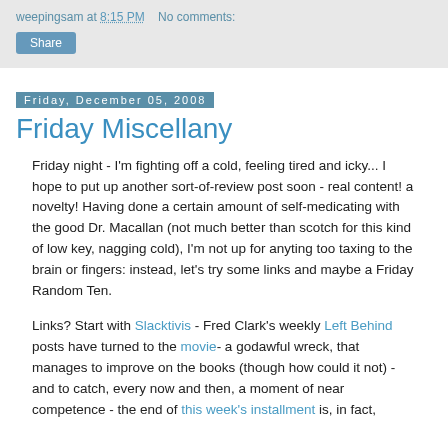weepingsam at 8:15 PM   No comments:
Share
Friday, December 05, 2008
Friday Miscellany
Friday night - I'm fighting off a cold, feeling tired and icky... I hope to put up another sort-of-review post soon - real content! a novelty! Having done a certain amount of self-medicating with the good Dr. Macallan (not much better than scotch for this kind of low key, nagging cold), I'm not up for anyting too taxing to the brain or fingers: instead, let's try some links and maybe a Friday Random Ten.
Links? Start with Slacktivis - Fred Clark's weekly Left Behind posts have turned to the movie- a godawful wreck, that manages to improve on the books (though how could it not) - and to catch, every now and then, a moment of near competence - the end of this week's installment is, in fact, The...